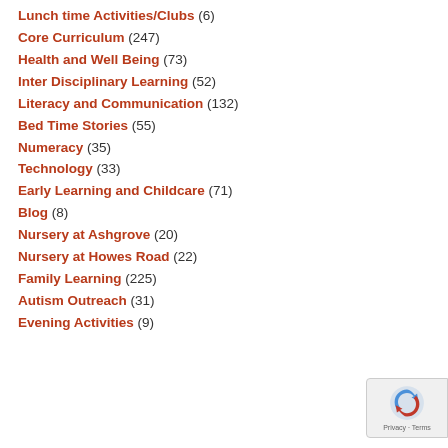Lunch time Activities/Clubs (6)
Core Curriculum (247)
Health and Well Being (73)
Inter Disciplinary Learning (52)
Literacy and Communication (132)
Bed Time Stories (55)
Numeracy (35)
Technology (33)
Early Learning and Childcare (71)
Blog (8)
Nursery at Ashgrove (20)
Nursery at Howes Road (22)
Family Learning (225)
Autism Outreach (31)
Evening Activities (9)